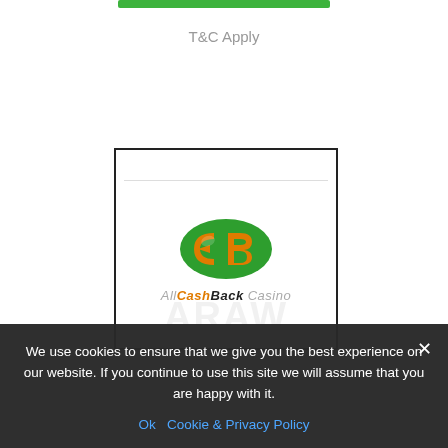T&C Apply
[Figure (logo): AllCashBack Casino logo: green and orange 'CB' icon with arrow, and italic text 'AllCashBack Casino']
We use cookies to ensure that we give you the best experience on our website. If you continue to use this site we will assume that you are happy with it.
Ok   Cookie & Privacy Policy